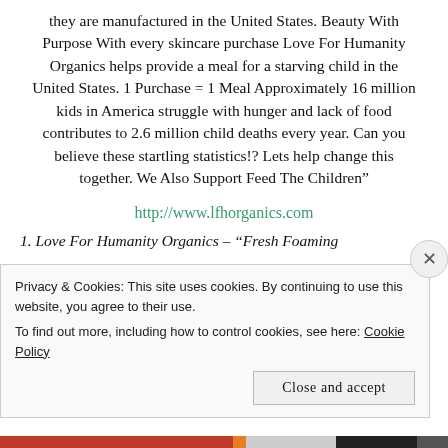they are manufactured in the United States. Beauty With Purpose With every skincare purchase Love For Humanity Organics helps provide a meal for a starving child in the United States. 1 Purchase = 1 Meal Approximately 16 million kids in America struggle with hunger and lack of food contributes to 2.6 million child deaths every year. Can you believe these startling statistics!? Lets help change this together. We Also Support Feed The Children”
http://www.lfhorganics.com
1. Love For Humanity Organics – “Fresh Foaming
Privacy & Cookies: This site uses cookies. By continuing to use this website, you agree to their use.
To find out more, including how to control cookies, see here: Cookie Policy
Close and accept